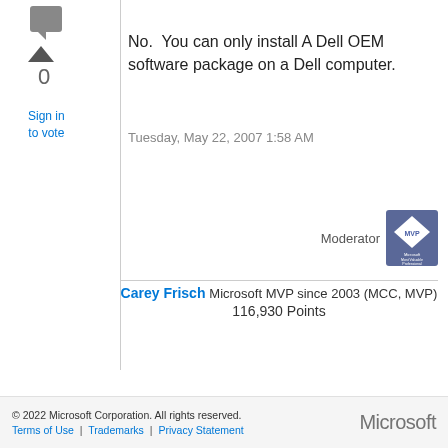[Figure (other): Vote up arrow icon and count area]
Sign in
to vote
No.  You can only install A Dell OEM software package on a Dell computer.
Tuesday, May 22, 2007 1:58 AM
[Figure (logo): Microsoft MVP badge logo]
Moderator
Carey Frisch Microsoft MVP since 2003 (MCC, MVP)
116,930 Points
© 2022 Microsoft Corporation. All rights reserved.
Terms of Use  |  Trademarks  |  Privacy Statement  Microsoft